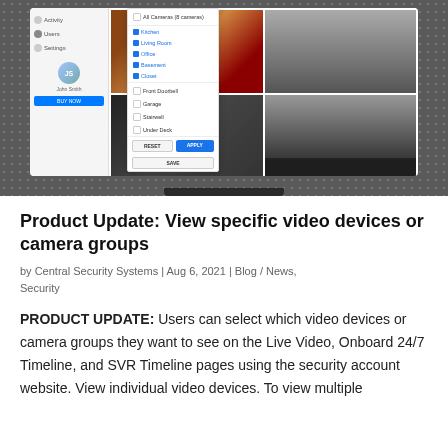[Figure (screenshot): Screenshot of a security camera app UI on a laptop, showing a camera group filter dropdown with options: All Cameras (8 cameras), Kitchen, Living Room, Office, Basement, Closet (checked in blue), Front Doorbell, Garage, Stairwell, Under Deck (unchecked), with RESET and APPLY buttons and a SAVE button. The main panel shows camera feeds in a grid.]
Product Update: View specific video devices or camera groups
by Central Security Systems | Aug 6, 2021 | Blog / News, Security
PRODUCT UPDATE: Users can select which video devices or camera groups they want to see on the Live Video, Onboard 24/7 Timeline, and SVR Timeline pages using the security account website. View individual video devices. To view multiple